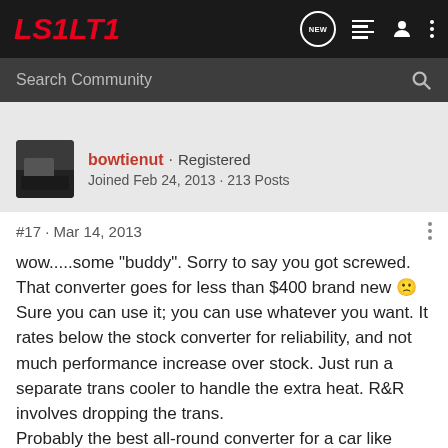LS1LT1
Search Community
bowtienut · Registered
Joined Feb 24, 2013 · 213 Posts
#17 · Mar 14, 2013
wow.....some "buddy". Sorry to say you got screwed. That converter goes for less than $400 brand new 🙁
Sure you can use it; you can use whatever you want. It rates below the stock converter for reliability, and not much performance increase over stock. Just run a separate trans cooler to handle the extra heat. R&R involves dropping the trans.
Probably the best all-round converter for a car like yours for